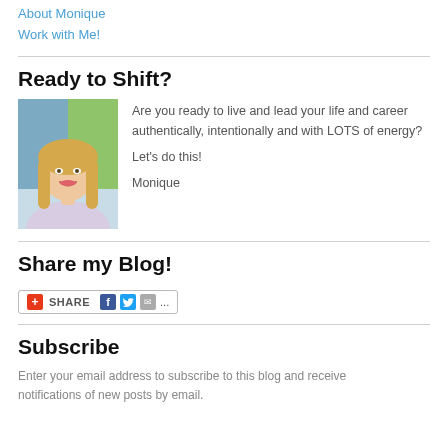About Monique
Work with Me!
Ready to Shift?
[Figure (photo): Portrait photo of Monique, a blonde woman smiling, outdoors]
Are you ready to live and lead your life and career authentically, intentionally and with LOTS of energy? Let's do this! Monique
Share my Blog!
[Figure (other): Share widget with plus icon, SHARE text, Facebook, Twitter, email icons and dots]
Subscribe
Enter your email address to subscribe to this blog and receive notifications of new posts by email.